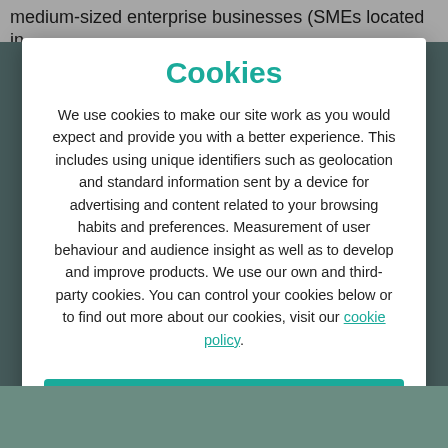medium-sized enterprise businesses (SMEs located in
Cookies
We use cookies to make our site work as you would expect and provide you with a better experience. This includes using unique identifiers such as geolocation and standard information sent by a device for advertising and content related to your browsing habits and preferences. Measurement of user behaviour and audience insight as well as to develop and improve products. We use our own and third-party cookies. You can control your cookies below or to find out more about our cookies, visit our cookie policy.
Accept All Cookies